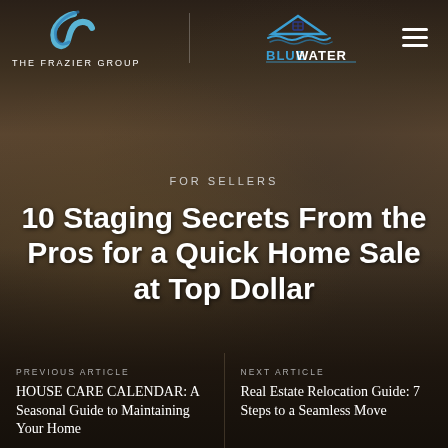[Figure (logo): The Frazier Group logo with blue swoosh and white text]
[Figure (logo): Blue Water Realty logo with blue roof/water icon and blue text]
[Figure (logo): Hamburger menu icon (three white horizontal lines)]
FOR SELLERS
10 Staging Secrets From the Pros for a Quick Home Sale at Top Dollar
PREVIOUS ARTICLE
HOUSE CARE CALENDAR: A Seasonal Guide to Maintaining Your Home
NEXT ARTICLE
Real Estate Relocation Guide: 7 Steps to a Seamless Move